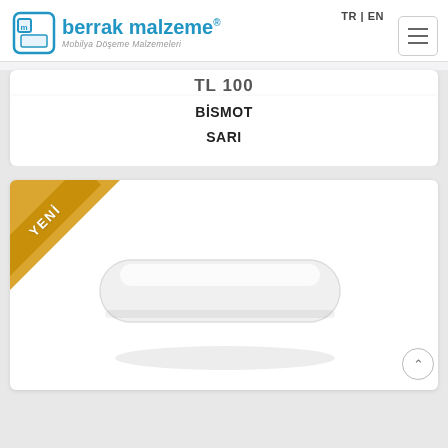TR | EN
[Figure (logo): Berrak Malzeme logo with icon and text 'berrak malzeme® Mobilya Döşeme Malzemeleri']
TR 100
BİSMOT
SARI
[Figure (photo): White elongated furniture handle/pull on white background, with 'YENİ' (New) gold diagonal badge in the top-left corner]